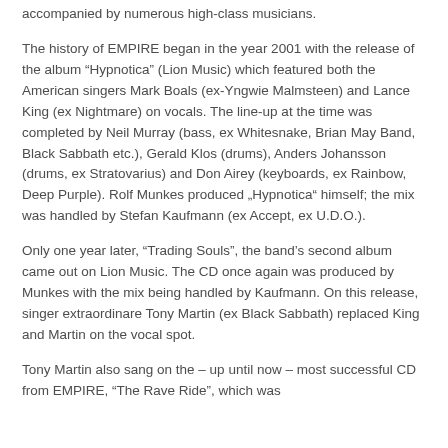accompanied by numerous high-class musicians.
The history of EMPIRE began in the year 2001 with the release of the album “Hypnotica” (Lion Music) which featured both the American singers Mark Boals (ex-Yngwie Malmsteen) and Lance King (ex Nightmare) on vocals. The line-up at the time was completed by Neil Murray (bass, ex Whitesnake, Brian May Band, Black Sabbath etc.), Gerald Klos (drums), Anders Johansson (drums, ex Stratovarius) and Don Airey (keyboards, ex Rainbow, Deep Purple). Rolf Munkes produced „Hypnotica“ himself; the mix was handled by Stefan Kaufmann (ex Accept, ex U.D.O.).
Only one year later, “Trading Souls”, the band’s second album came out on Lion Music. The CD once again was produced by Munkes with the mix being handled by Kaufmann. On this release, singer extraordinare Tony Martin (ex Black Sabbath) replaced King and Martin on the vocal spot.
Tony Martin also sang on the – up until now – most successful CD from EMPIRE, “The Rave Ride”, which was